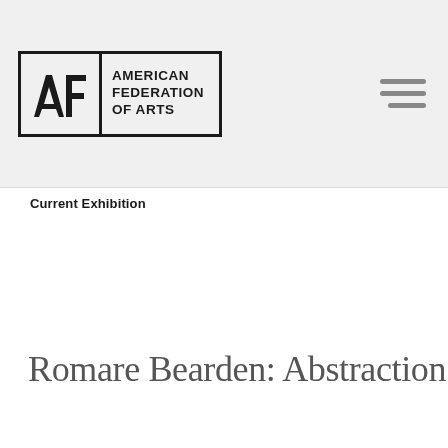[Figure (logo): American Federation of Arts (AFA) logo — a rectangular bordered box with the AFA monogram on the left and the text AMERICAN FEDERATION OF ARTS on the right]
Current Exhibition
Romare Bearden: Abstraction